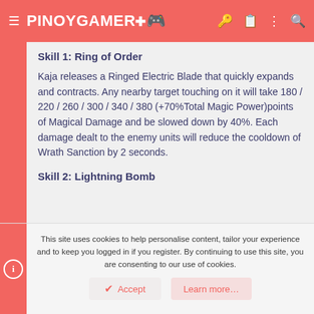PINOYGAMER
Skill 1: Ring of Order
Kaja releases a Ringed Electric Blade that quickly expands and contracts. Any nearby target touching on it will take 180 / 220 / 260 / 300 / 340 / 380 (+70%Total Magic Power)points of Magical Damage and be slowed down by 40%. Each damage dealt to the enemy units will reduce the cooldown of Wrath Sanction by 2 seconds.
Skill 2: Lightning Bomb
This site uses cookies to help personalise content, tailor your experience and to keep you logged in if you register. By continuing to use this site, you are consenting to our use of cookies.